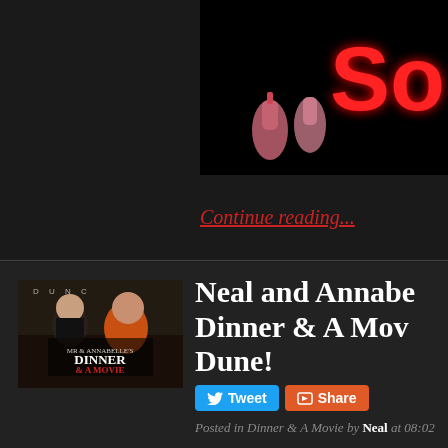[Figure (screenshot): Dark background with neon sign showing 'SO' in red neon and a squeeze bottle, partial diner image]
Continue reading...
[Figure (photo): Thumbnail showing two people at a diner with 'DINNER & A MOVIE' text overlay and DUNC sign in background]
Neal and Annabelle's Dinner & A Movie at Dune!
Tweet
Share
Posted in Dinner & A Movie by Neal at 08:02
Neal & Annabelle's Dinner & A Movie at Boston!